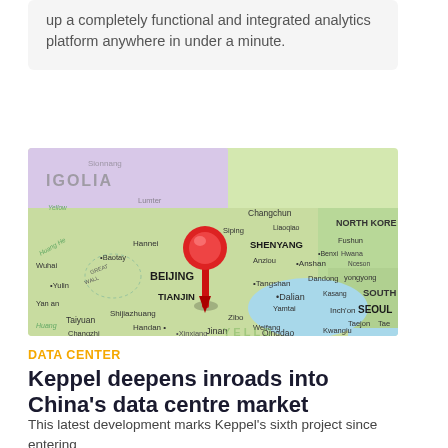up a completely functional and integrated analytics platform anywhere in under a minute.
[Figure (map): Map of northeastern China and surrounding regions showing Beijing marked with a red pin, with cities including Tianjin, Shenyang, Dalian, Qingdao, and regions including North Korea and South Korea visible.]
DATA CENTER
Keppel deepens inroads into China's data centre market
This latest development marks Keppel's sixth project since entering mainland China to date, a market that